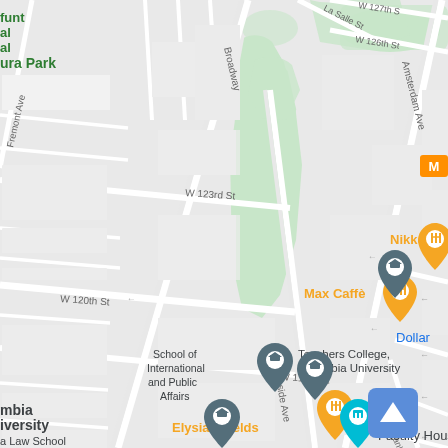[Figure (map): Google Maps screenshot showing area around Columbia University in New York City. Shows streets including Broadway, Amsterdam Ave, Morningside Ave, W 119th St, W 120th St, W 123rd St, W 126th St, W 127th St, and La Salle St. Points of interest include Teachers College Columbia University, School of International and Public Affairs, Faculty House, Nikko restaurant, Max Caffe, Elysian Fields restaurant, Angel of (partially visible), Dollar (partially visible), and a Metro station marker. Green areas represent Morningside Park. Navigation arrow button visible in bottom right corner.]